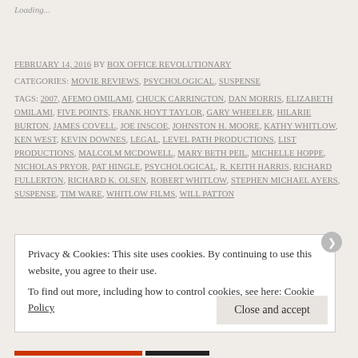Loading...
FEBRUARY 14, 2016 BY BOX OFFICE REVOLUTIONARY
CATEGORIES: MOVIE REVIEWS, PSYCHOLOGICAL, SUSPENSE
TAGS: 2007, AFEMO OMILAMI, CHUCK CARRINGTON, DAN MORRIS, ELIZABETH OMILAMI, FIVE POINTS, FRANK HOYT TAYLOR, GARY WHEELER, HILARIE BURTON, JAMES COVELL, JOE INSCOE, JOHNSTON H. MOORE, KATHY WHITLOW, KEN WEST, KEVIN DOWNES, LEGAL, LEVEL PATH PRODUCTIONS, LIST PRODUCTIONS, MALCOLM MCDOWELL, MARY BETH PEIL, MICHELLE HOPPE, NICHOLAS PRYOR, PAT HINGLE, PSYCHOLOGICAL, R. KEITH HARRIS, RICHARD FULLERTON, RICHARD K. OLSEN, ROBERT WHITLOW, STEPHEN MICHAEL AYERS, SUSPENSE, TIM WARE, WHITLOW FILMS, WILL PATTON
Privacy & Cookies: This site uses cookies. By continuing to use this website, you agree to their use. To find out more, including how to control cookies, see here: Cookie Policy
Close and accept